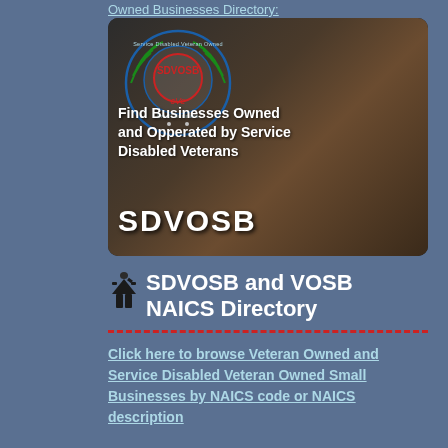Owned Businesses Directory:
[Figure (photo): SDVOSB promotional image showing military personnel with SDVOSB emblem/logo and text 'Find Businesses Owned and Opperated by Service Disabled Veterans SDVOSB']
SDVOSB and VOSB NAICS Directory
Click here to browse Veteran Owned and Service Disabled Veteran Owned Small Businesses by NAICS code or NAICS description